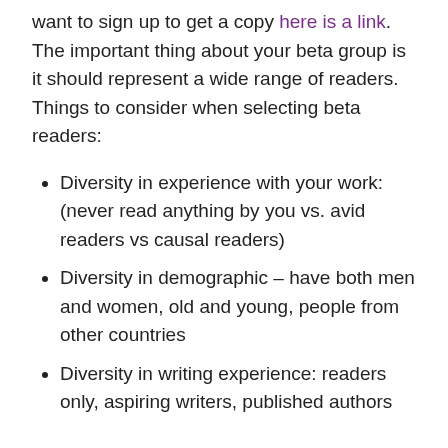want to sign up to get a copy here is a link. The important thing about your beta group is it should represent a wide range of readers.  Things to consider when selecting beta readers:
Diversity in experience with your work: (never read anything by you vs. avid readers vs causal readers)
Diversity in demographic – have both men and women, old and young, people from other countries
Diversity in writing experience: readers only, aspiring writers, published authors
Recently my wife ran two beta reads for my new book Rhune (Book #1 of The First Empire). She got them from